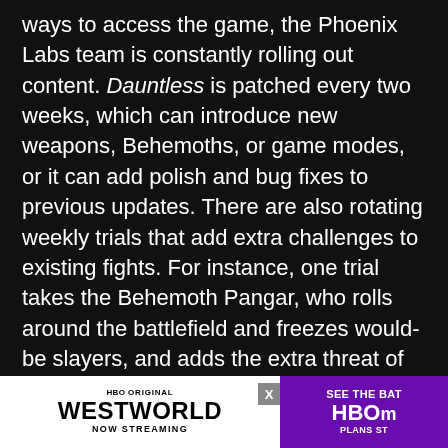ways to access the game, the Phoenix Labs team is constantly rolling out content. Dauntless is patched every two weeks, which can introduce new weapons, Behemoths, or game modes, or it can add polish and bug fixes to previous updates. There are also rotating weekly trials that add extra challenges to existing fights. For instance, one trial takes the Behemoth Pangar, who rolls around the battlefield and freezes would-be slayers, and adds the extra threat of lightning strikes from clouds hanging overhead.
There are 20 distinct archetypes of Behemoth in Dauntless, though they can be battled in four levels of scaling difficulty. These range from a tutorial mode meant to teach you the ropes of the fight to Heroic Plus, which is the hardest content in the game. The entire studio... the monsters, th... one has
[Figure (infographic): Advertisement banner at the bottom of the page. Left side: white background with 'HBO ORIGINAL' in small bold text, 'WESTWORLD' in large bold black text, 'NOW STREAMING' in small bold spaced text. Right side: purple background with 'SEE THE BAT' in white bold text, 'HBOm' in large white bold text, 'PLANS ST' in small white bold text. A small grey close button (X) appears above the right ad panel.]